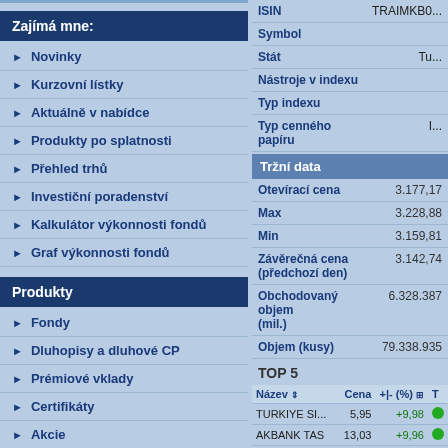Zajímá mne:
Novinky
Kurzovní lístky
Aktuálně v nabídce
Produkty po splatnosti
Přehled trhů
Investiční poradenství
Kalkulátor výkonnosti fondů
Graf výkonnosti fondů
Produkty
Fondy
Dluhopisy a dluhové CP
Prémiové vklady
Certifikáty
Akcie
Zlaté slitky
|  |  |
| --- | --- |
| ISIN | TRAIMKB0... |
| Symbol |  |
| Stát | Tu... |
| Nástroje v indexu |  |
| Typ indexu |  |
| Typ cenného papíru | I... |
Tržní data
|  |  |
| --- | --- |
| Otevírací cena | 3.177,17 |
| Max | 3.228,88 |
| Min | 3.159,81 |
| Závěrečná cena (předchozí den) | 3.142,74 |
| Obchodovaný objem (mil.) | 6.328.387 |
| Objem (kusy) | 79.338.935 |
TOP 5
| Název | Cena | +|- (%) | T |
| --- | --- | --- | --- |
| TURKIYE SI... | 5,95 | +9,98 |  |
| AKBANK TAS | 13,03 | +9,96 |  |
| TURKIYE IS... | 8,84 | +9,95 |  |
| SEKERBANK ... | 4,25 | +9,82 |  |
| TURKIYE VA... | 8,34 | +8,88 |  |
Denní 1t 1m 6m 1r 3r